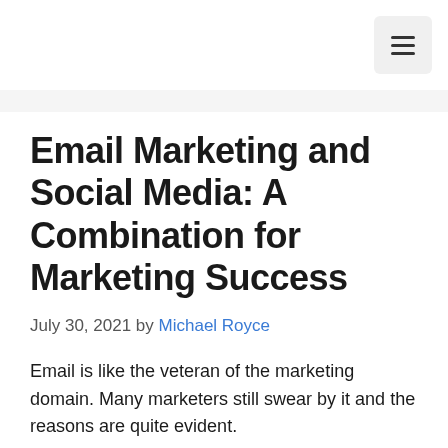≡
Email Marketing and Social Media: A Combination for Marketing Success
July 30, 2021 by Michael Royce
Email is like the veteran of the marketing domain. Many marketers still swear by it and the reasons are quite evident.